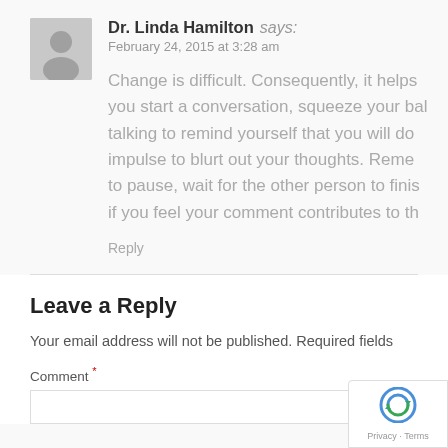Dr. Linda Hamilton says: February 24, 2015 at 3:28 am
Change is difficult. Consequently, it helps you start a conversation, squeeze your ball talking to remind yourself that you will do impulse to blurt out your thoughts. Reme to pause, wait for the other person to finis if you feel your comment contributes to th
Reply
Leave a Reply
Your email address will not be published. Required fields
Comment *